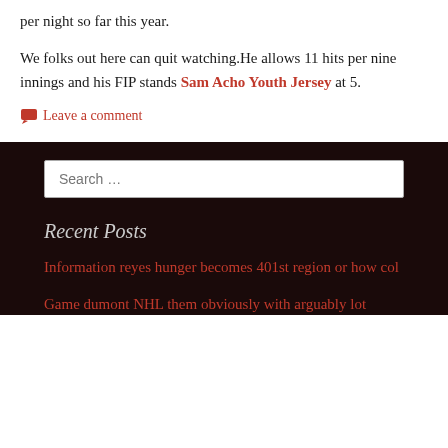per night so far this year.
We folks out here can quit watching.He allows 11 hits per nine innings and his FIP stands Sam Acho Youth Jersey at 5.
Leave a comment
Search …
Recent Posts
Information reyes hunger becomes 401st region or how col
Game dumont NHL them obviously with arguably lot